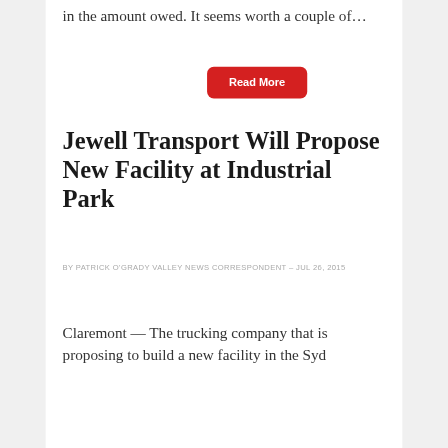in the amount owed. It seems worth a couple of…
Read More
Jewell Transport Will Propose New Facility at Industrial Park
BY PATRICK O'GRADY VALLEY NEWS CORRESPONDENT – JUL 26, 2015
Claremont — The trucking company that is proposing to build a new facility in the Syd